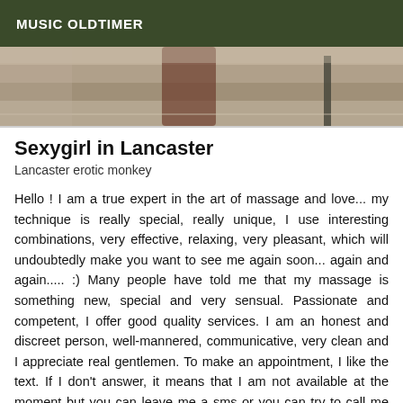MUSIC OLDTIMER
[Figure (photo): Partial photo showing legs/feet area on a light wood floor with a dark vertical object, cropped at top]
Sexygirl in Lancaster
Lancaster erotic monkey
Hello ! I am a true expert in the art of massage and love... my technique is really special, really unique, I use interesting combinations, very effective, relaxing, very pleasant, which will undoubtedly make you want to see me again soon... again and again..... :) Many people have told me that my massage is something new, special and very sensual. Passionate and competent, I offer good quality services. I am an honest and discreet person, well-mannered, communicative, very clean and I appreciate real gentlemen. To make an appointment, I like the text. If I don't answer, it means that I am not available at the moment but you can leave me a sms or you can try to call me later.